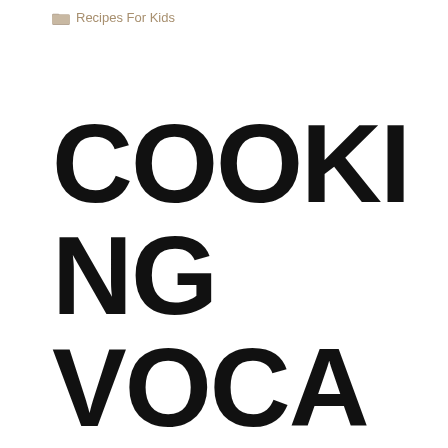Recipes For Kids
COOKING VOCABULARY